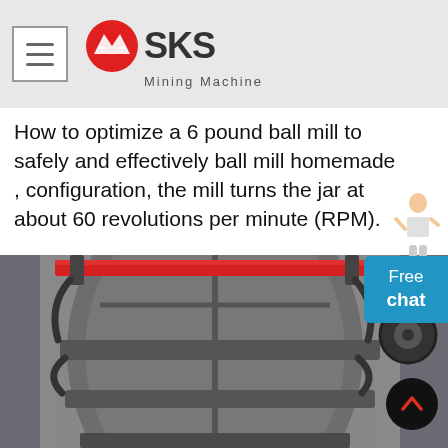SKS Mining Machine
How to optimize a 6 pound ball mill to safely and effectively ball mill homemade , configuration, the mill turns the jar at about 60 revolutions per minute (RPM).
[Figure (photo): Close-up photo of a ball mill machine showing a large dark gray cylindrical jar secured with red safety straps and metal clamps/brackets, with industrial metal frame visible in background]
[Figure (illustration): Small illustration of a woman in professional attire gesturing, used as chat assistant avatar]
Free chat